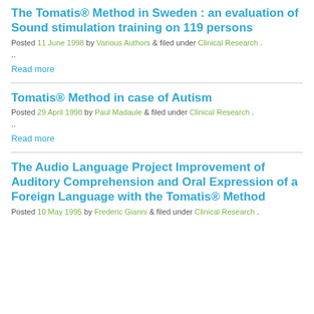The Tomatis® Method in Sweden : an evaluation of Sound stimulation training on 119 persons
Posted 11 June 1998 by Various Authors & filed under Clinical Research .
..
Read more
Tomatis® Method in case of Autism
Posted 29 April 1998 by Paul Madaule & filed under Clinical Research .
..
Read more
The Audio Language Project Improvement of Auditory Comprehension and Oral Expression of a Foreign Language with the Tomatis® Method
Posted 10 May 1995 by Frederic Gianni & filed under Clinical Research .